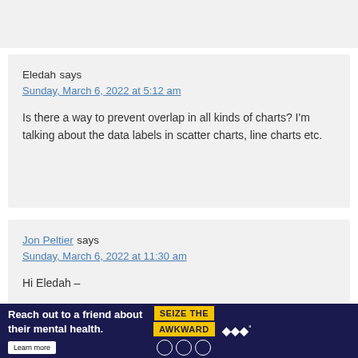Eledah says
Sunday, March 6, 2022 at 5:12 am
Is there a way to prevent overlap in all kinds of charts? I'm talking about the data labels in scatter charts, line charts etc.
Jon Peltier says
Sunday, March 6, 2022 at 11:30 am
Hi Eledah –
One could conceivably write routines to prevent
[Figure (infographic): Advertisement banner: 'Reach out to a friend about their mental health.' with 'SEIZE THE AWKWARD' badge and Learn more button on dark navy background.]